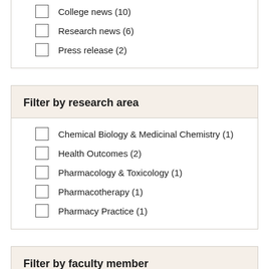College news (10)
Research news (6)
Press release (2)
Filter by research area
Chemical Biology & Medicinal Chemistry (1)
Health Outcomes (2)
Pharmacology & Toxicology (1)
Pharmacotherapy (1)
Pharmacy Practice (1)
Filter by faculty member